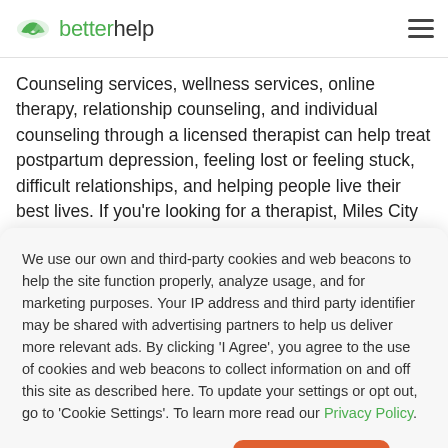betterhelp
Counseling services, wellness services, online therapy, relationship counseling, and individual counseling through a licensed therapist can help treat postpartum depression, feeling lost or feeling stuck, difficult relationships, and helping people live their best lives. If you're looking for a therapist, Miles City has
We use our own and third-party cookies and web beacons to help the site function properly, analyze usage, and for marketing purposes. Your IP address and third party identifier may be shared with advertising partners to help us deliver more relevant ads. By clicking 'I Agree', you agree to the use of cookies and web beacons to collect information on and off this site as described here. To update your settings or opt out, go to 'Cookie Settings'. To learn more read our Privacy Policy.
Cookie Settings
I Agree